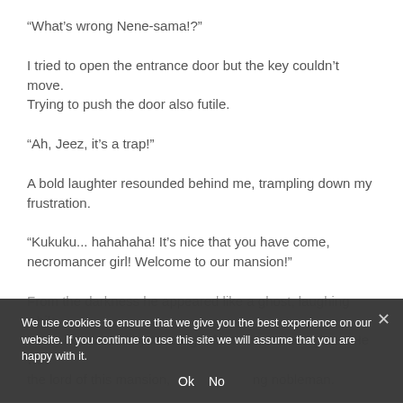“What’s wrong Nene-sama!?”
I tried to open the entrance door but the key couldn’t move. Trying to push the door also futile.
"Ah, Jeez, it’s a trap!"
A bold laughter resounded behind me, trampling down my frustration.
"Kukuku... hahahaha! It’s nice that you have come, necromancer girl! Welcome to our mansion!"
From the darkness he appeared like a ghost, laughing while being illuminated by moonlight from the stained glass. He was the lord of this mansion, a young nobleman.
We use cookies to ensure that we give you the best experience on our website. If you continue to use this site we will assume that you are happy with it.
Ok  No